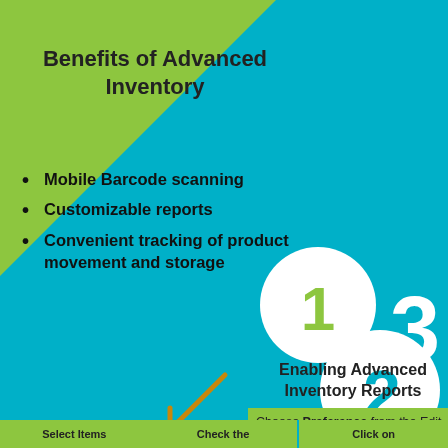Benefits of Advanced Inventory
Mobile Barcode scanning
Customizable reports
Convenient tracking of product movement and storage
[Figure (infographic): Numbered step circles (1, 2, 3) on green and cyan triangle backgrounds representing steps in enabling advanced inventory reports]
Enabling Advanced Inventory Reports
Choose Preference from the Edit menu
Select Items
Check the
Click on